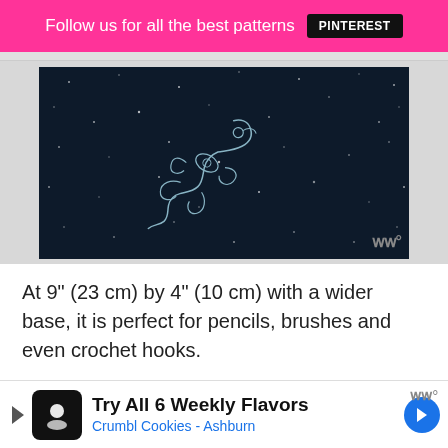Follow us for all the best patterns  PINTEREST
[Figure (illustration): Dark starfield background with a light blue outline illustration of a decorative gecko/lizard figure, watermark symbol in bottom right]
At 9” (23 cm) by 4” (10 cm) with a wider base, it is perfect for pencils, brushes and even crochet hooks.
We very much recommend this pattern. Not only is it free, but it’s also beautiful and would make a lo... brushes ba...
[Figure (screenshot): Advertisement banner: Try All 6 Weekly Flavors - Crumbl Cookies - Ashburn with navigation arrow icon]